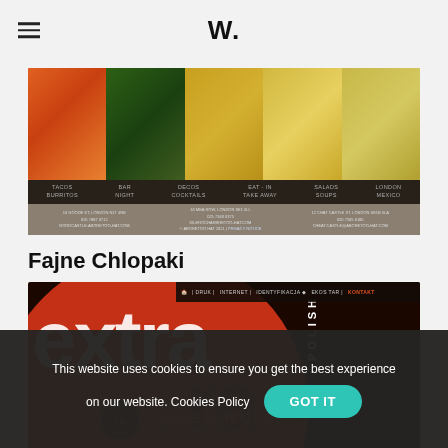W.
[Figure (photo): Restaurant website screenshot showing food images (tomatoes, herbs, nachos, wine glass) with dark navigation bar showing TACOS/BURRITOS, BAR/NIGHT, DECOS/COCKTAILS, EAT-IN/TAKE AWAY, SALADS/SOUPS, LONDON/MEXICO, and address information below]
Fajne Chlopaki
[Figure (screenshot): Fajne Chlopaki restaurant website screenshot showing 'extra POLISH' branding on dark red circle background with navigation bar and logo]
This website uses cookies to ensure you get the best experience on our website. Cookies Policy
GOT IT